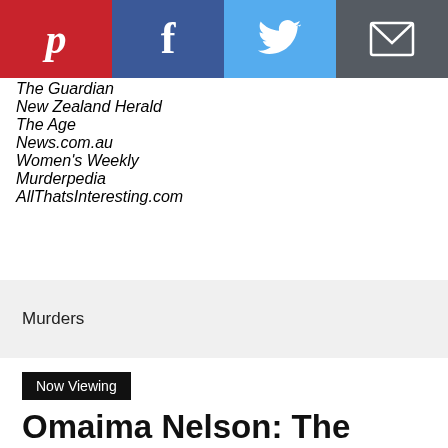[Figure (other): Social share bar with Pinterest (red), Facebook (blue), Twitter (sky blue), and Email (grey) buttons]
The Guardian
New Zealand Herald
The Age
News.com.au
Women's Weekly
Murderpedia
AllThatsInteresting.com
Murders
Now Viewing
Omaima Nelson: The Model Who Killed, Castrated & Ate Her Husband For Thanksgiving